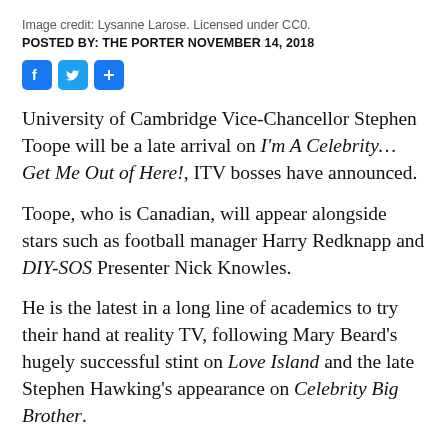Image credit: Lysanne Larose. Licensed under CC0.
POSTED BY: THE PORTER NOVEMBER 14, 2018
[Figure (other): Social sharing icons: Facebook, Twitter, and a plus/share button]
University of Cambridge Vice-Chancellor Stephen Toope will be a late arrival on I'm A Celebrity… Get Me Out of Here!, ITV bosses have announced.
Toope, who is Canadian, will appear alongside stars such as football manager Harry Redknapp and DIY-SOS Presenter Nick Knowles.
He is the latest in a long line of academics to try their hand at reality TV, following Mary Beard's hugely successful stint on Love Island and the late Stephen Hawking's appearance on Celebrity Big Brother.
As well as aiming to add to his currently paltry pay packet of just £365,000-a-year, the Vice-Chancellor has cited his desire to improve his reputation among